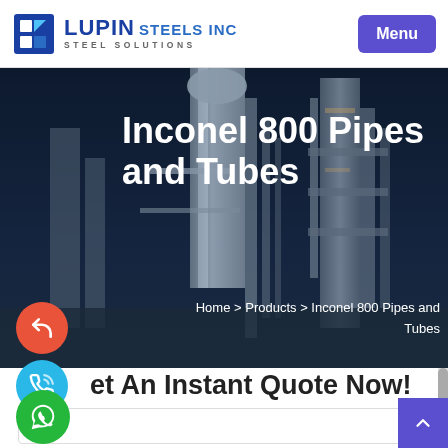LUPIN STEELS INC — STEEL SOLUTIONS | Menu
[Figure (photo): Industrial pipes and tubes facility at night with tall columns and metallic structures against a dark blue sky]
Inconel 800 Pipes and Tubes
Home > Products > Inconel 800 Pipes and Tubes
Get An Instant Quote Now!
Name